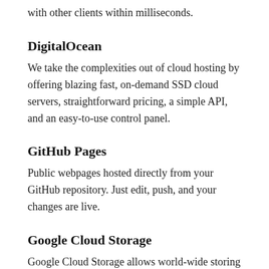automatically synchronized with the Firebase cloud and with other clients within milliseconds.
DigitalOcean
We take the complexities out of cloud hosting by offering blazing fast, on-demand SSD cloud servers, straightforward pricing, a simple API, and an easy-to-use control panel.
GitHub Pages
Public webpages hosted directly from your GitHub repository. Just edit, push, and your changes are live.
Google Cloud Storage
Google Cloud Storage allows world-wide storing and retrieval of any amount of data and at any time. It provides a simple programming interface which enables developers to take advantage of Google's own reliable and fast